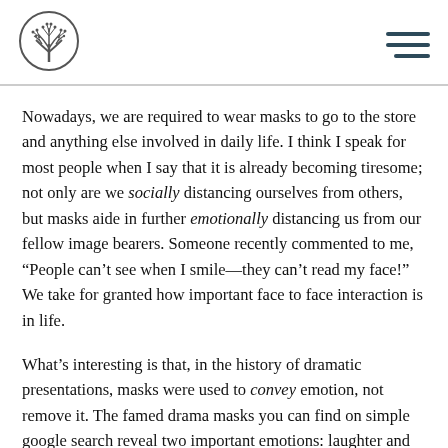[Logo: tree in circle] [Hamburger menu icon]
Nowadays, we are required to wear masks to go to the store and anything else involved in daily life. I think I speak for most people when I say that it is already becoming tiresome; not only are we socially distancing ourselves from others, but masks aide in further emotionally distancing us from our fellow image bearers. Someone recently commented to me, “People can’t see when I smile—they can’t read my face!” We take for granted how important face to face interaction is in life.
What’s interesting is that, in the history of dramatic presentations, masks were used to convey emotion, not remove it. The famed drama masks you can find on simple google search reveal two important emotions: laughter and